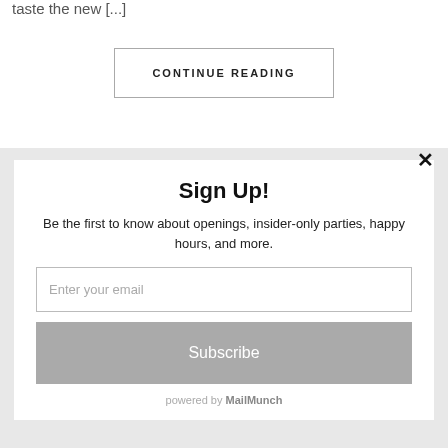taste the new [...]
CONTINUE READING
✕
Sign Up!
Be the first to know about openings, insider-only parties, happy hours, and more.
Enter your email
Subscribe
powered by MailMunch